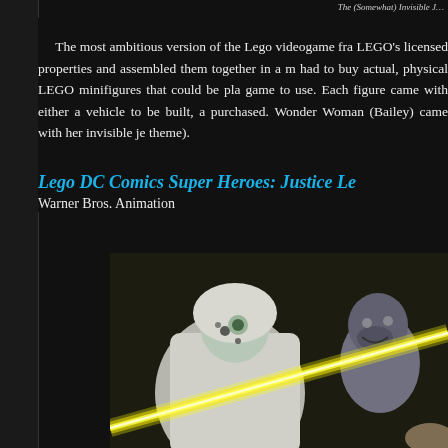The (Somewhat) Invisible J…
The most ambitious version of the Lego videogame fra… LEGO's licensed properties and assembled them together in a m… had to buy actual, physical LEGO minifigures that could be pla… game to use. Each figure came with either a vehicle to be built, a… purchased. Wonder Woman (Bailey) came with her invisible je… theme).
Lego DC Comics Super Heroes: Justice Le…
Warner Bros. Animation
[Figure (photo): Screenshot from Lego DC Comics Super Heroes animated film showing LEGO figures of a white-costumed female character and a grey-skinned gorilla character, with a bright yellow energy beam crossing the foreground diagonally.]